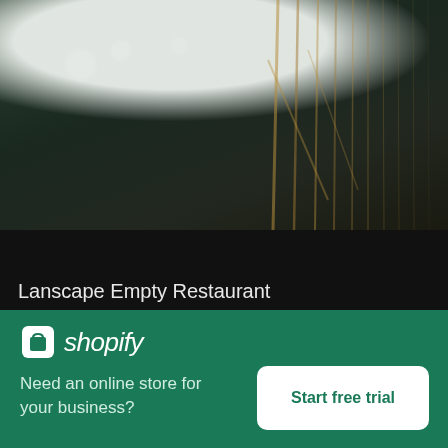[Figure (photo): Restaurant table with white tablecloth, glasses and cutlery, dark green background with gold/tan wicker chairs]
Lanscape Empty Restaurant
High resolution download ↓
[Figure (photo): Blurred street scene with a red sign, gray concrete wall, and dark brown building]
[Figure (logo): Shopify logo with shopping bag icon and italic shopify text]
Need an online store for your business?
Start free trial